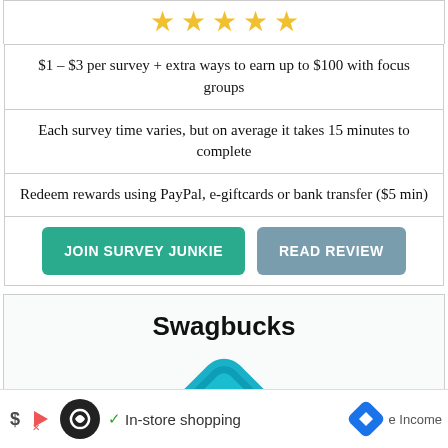[Figure (other): 5 gold stars rating]
$1 – $3 per survey + extra ways to earn up to $100 with focus groups
Each survey time varies, but on average it takes 15 minutes to complete
Redeem rewards using PayPal, e-giftcards or bank transfer ($5 min)
JOIN SURVEY JUNKIE | READ REVIEW
Swagbucks
[Figure (logo): Swagbucks logo — teal chain-link diamond shape]
[Figure (other): 5 gold stars rating (partially visible)]
In-store shopping